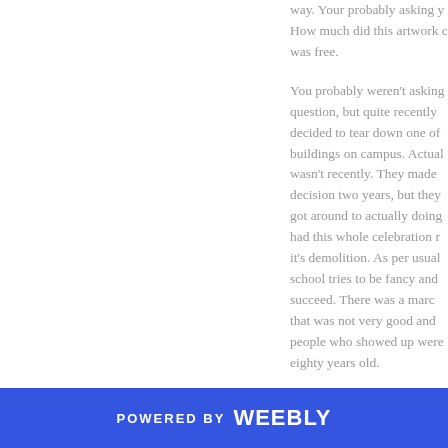way. Your probably asking y How much did this artwork c was free.
You probably weren't asking question, but quite recently decided to tear down one of buildings on campus. Actual wasn't recently. They made decision two years, but they got around to actually doing had this whole celebration r it's demolition. As per usual school tries to be fancy and succeed. There was a marc that was not very good and people who showed up were eighty years old.
Black and I decided to go a anything we wanted from th
POWERED BY weebly